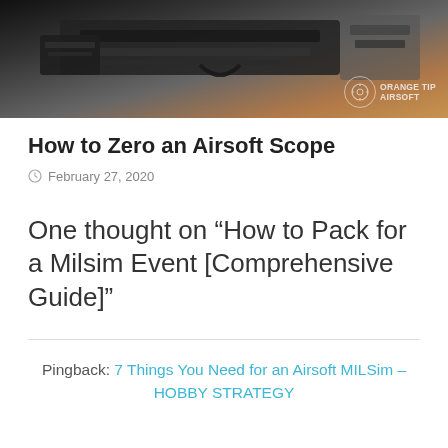[Figure (photo): Close-up photograph of an airsoft/rifle gun mechanism with dark metallic components against a brown wooden background. Orange Tip Airsoft logo watermark in bottom-right corner.]
How to Zero an Airsoft Scope
February 27, 2020
One thought on “How to Pack for a Milsim Event [Comprehensive Guide]”
Pingback: 7 Things You Need for an Airsoft MILSim – HOBBY STRATEGY